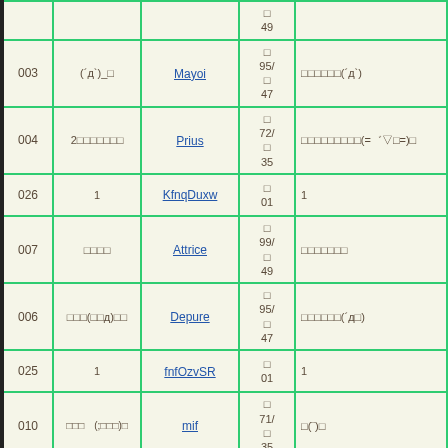| # | name | link | votes | comment |
| --- | --- | --- | --- | --- |
|  |  |  | □ 49 |  |
| 003 | (´д`)_□ | Mayoi | □ 95/ □ 47 | □□□□□□(´д`) |
| 004 | 2□□□□□□□ | Prius | □ 72/ □ 35 | □□□□□□□□□(=゛▽□=)□ |
| 026 | 1 | KfnqDuxw | □ 01 | 1 |
| 007 | □□□□ | Attrice | □ 99/ □ 49 | □□□□□□□ |
| 006 | □□□(□□д)□□ | Depure | □ 95/ □ 47 | □□□□□□(´д□) |
| 025 | 1 | fnfOzvSR | □ 01 | 1 |
| 010 | □□□　(;□□□)□ | mif | □ 71/ □ 35 | □(¨)□ |
| 018 |  | piimocho | □ 80/ | □□□□□□□□□□□□ |